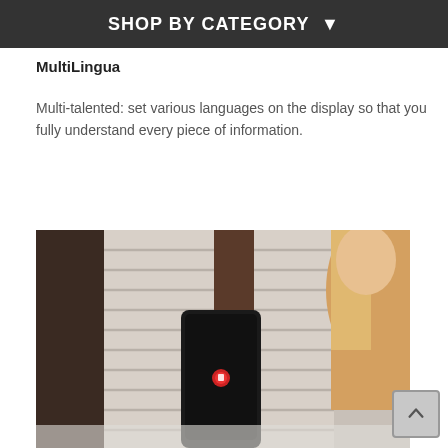SHOP BY CATEGORY
MultiLingua
Multi-talented: set various languages on the display so that you fully understand every piece of information.
[Figure (photo): A woman holding a smartphone with a dark screen showing a small red icon, photographed from behind with blinds in the background.]